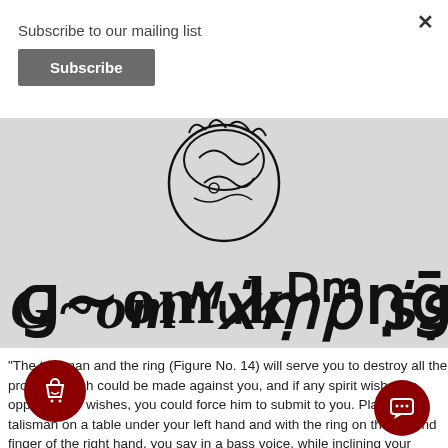Subscribe to our mailing list
Subscribe
[Figure (illustration): Ancient talisman and ring illustration with mystical script characters on a gray background]
"The talisman and the ring (Figure No. 14) will serve you to destroy all the projects which could be made against you, and if any spirit wished to oppose your wishes, you could force him to submit to you. Place the talisman on a table under your left hand and with the ring on the second finger of the right hand, you say in a bass voice, while inclining your head...s, Terfita, Estamos, Perfiter, Notarin